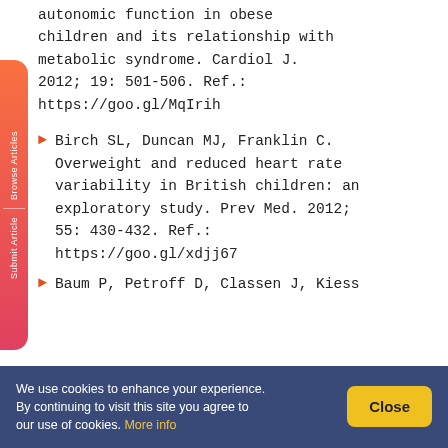autonomic function in obese children and its relationship with metabolic syndrome. Cardiol J. 2012; 19: 501-506. Ref.: https://goo.gl/MqIrih
Birch SL, Duncan MJ, Franklin C. Overweight and reduced heart rate variability in British children: an exploratory study. Prev Med. 2012; 55: 430-432. Ref.: https://goo.gl/xdjj67
Baum P, Petroff D, Classen J, Kiess
We use cookies to enhance your experience. By continuing to visit this site you agree to our use of cookies. More info